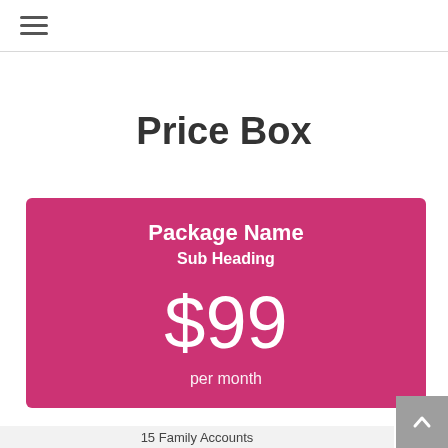≡ (hamburger menu icon)
Price Box
Package Name
Sub Heading
$99
per month
15 Family Accounts